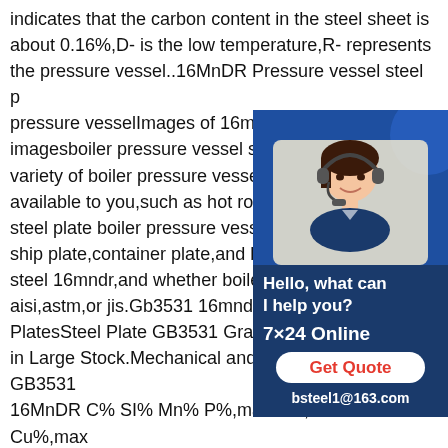indicates that the carbon content in the steel sheet is about 0.16%,D- is the low temperature,R- represents the pressure vessel..16MnDR Pressure vessel steel p pressure vesselImages of 16mndr Hot R imagesboiler pressure vessel steel 16m variety of boiler pressure vessel steel 16 available to you,such as hot rolled.You ca steel plate boiler pressure vessel steel 16 ship plate,container plate,and boiler plate steel 16mndr,and whether boiler pressur aisi,astm,or jis.Gb3531 16mndr Boiler St PlatesSteel Plate GB3531 Grade 16MnD in Large Stock.Mechanical and chemical properties of GB3531 16MnDR C% SI% Mn% P%,max S%,max Al% Cr% Cu%,max Mo% Nb%,max Ni%,max Ti%,max V%,max 0.20 0.15 0.50 1.2 1.6 0.02 0.01 0.020 6100 ton carbon steel plate for storage tanks.4800 Gb3531 16mndr Boiler Steel Plate
[Figure (illustration): Customer service advertisement widget with a photo of a woman wearing a headset on a blue background. Text reads: Hello, what can I help you? 7×24 Online, Get Quote button, bsteel1@163.com]